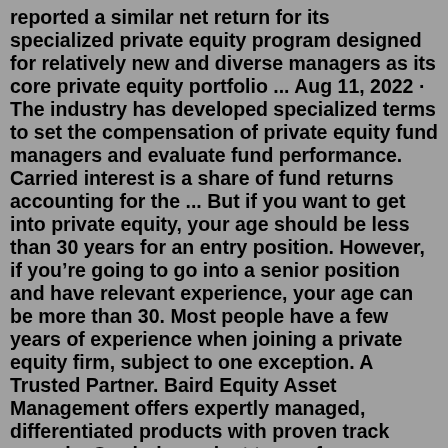reported a similar net return for its specialized private equity program designed for relatively new and diverse managers as its core private equity portfolio ... Aug 11, 2022 · The industry has developed specialized terms to set the compensation of private equity fund managers and evaluate fund performance. Carried interest is a share of fund returns accounting for the ... But if you want to get into private equity, your age should be less than 30 years for an entry position. However, if you're going to go into a senior position and have relevant experience, your age can be more than 30. Most people have a few years of experience when joining a private equity firm, subject to one exception. A Trusted Partner. Baird Equity Asset Management offers expertly managed, differentiated products with proven track records. Our independent teams focus on specialized areas of the market. Supported by the operational and financial strength of Baird, our experienced professionals are able to focus on delivering high quality, actively managed ... their